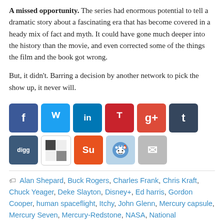A missed opportunity. The series had enormous potential to tell a dramatic story about a fascinating era that has become covered in a heady mix of fact and myth. It could have gone much deeper into the history than the movie, and even corrected some of the things the film and the book got wrong.

But, it didn't. Barring a decision by another network to pick the show up, it never will.
[Figure (infographic): Row of social media share buttons: Facebook, Twitter, LinkedIn, Pinterest, Google+, Tumblr, Digg, ShareThis (second row: StumbleUpon, Reddit, Email)]
Alan Shepard, Buck Rogers, Charles Frank, Chris Kraft, Chuck Yeager, Deke Slayton, Disney+, Ed harris, Gordon Cooper, human spaceflight, Itchy, John Glenn, Mercury capsule, Mercury Seven, Mercury-Redstone, NASA, National Geographic, Panco Barnes, Project Mercury, Redstone rocket, Scott Carpenter, Scott Glenn, Scratchy, The Right